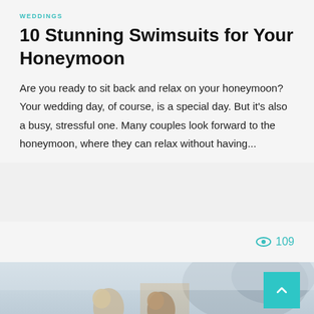WEDDINGS
10 Stunning Swimsuits for Your Honeymoon
Are you ready to sit back and relax on your honeymoon? Your wedding day, of course, is a special day. But it's also a busy, stressful one. Many couples look forward to the honeymoon, where they can relax without having...
109
[Figure (photo): A couple in a misty outdoor setting with rocks in background, partially visible at bottom of page. A teal scroll-to-top button is overlaid in the bottom right.]